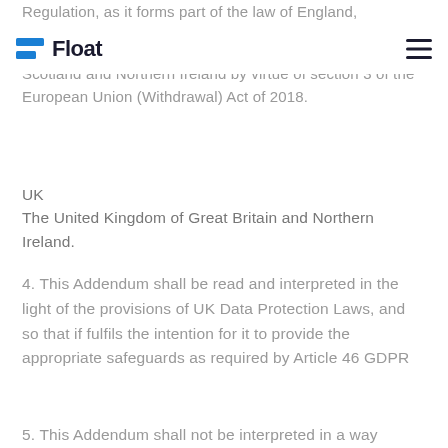Regulation, as it forms part of the law of England, Scotland and Northern Ireland by virtue of section 3 of the European Union (Withdrawal) Act of 2018.
Float (logo and navigation)
UK
The United Kingdom of Great Britain and Northern Ireland.
4. This Addendum shall be read and interpreted in the light of the provisions of UK Data Protection Laws, and so that if fulfils the intention for it to provide the appropriate safeguards as required by Article 46 GDPR
5. This Addendum shall not be interpreted in a way